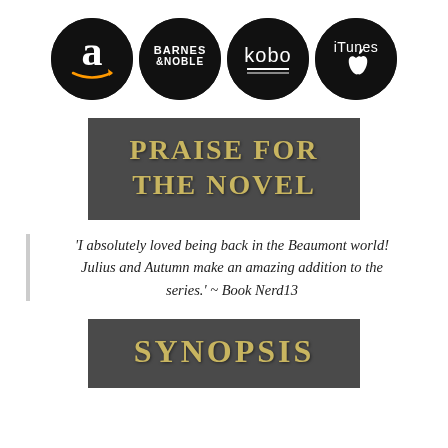[Figure (logo): Four circular black logos in a row: Amazon, Barnes & Noble, Kobo, iTunes]
PRAISE FOR THE NOVEL
'I absolutely loved being back in the Beaumont world! Julius and Autumn make an amazing addition to the series.' ~ Book Nerd13
SYNOPSIS